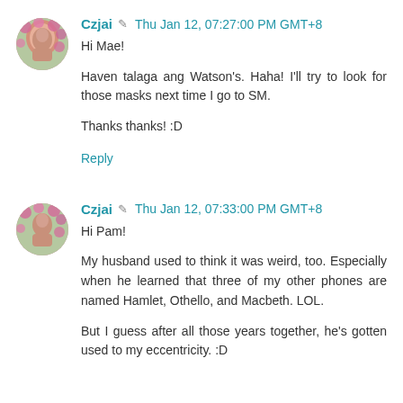[Figure (photo): Avatar of Czjai, showing a person in front of pink flowers]
Czjai ✎ Thu Jan 12, 07:27:00 PM GMT+8
Hi Mae!

Haven talaga ang Watson's. Haha! I'll try to look for those masks next time I go to SM.

Thanks thanks! :D
Reply
[Figure (photo): Avatar of Czjai, showing a person in front of pink flowers]
Czjai ✎ Thu Jan 12, 07:33:00 PM GMT+8
Hi Pam!

My husband used to think it was weird, too. Especially when he learned that three of my other phones are named Hamlet, Othello, and Macbeth. LOL.

But I guess after all those years together, he's gotten used to my eccentricity. :D